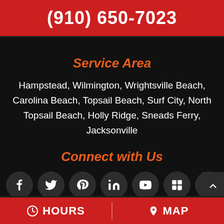(910) 650-7023
Service Area
Hampstead, Wilmington, Wrightsville Beach, Carolina Beach, Topsail Beach, Surf City, North Topsail Beach, Holly Ridge, Sneads Ferry, Jacksonville
Connect with Us
[Figure (infographic): Row of 7 social media icon buttons (Facebook, Twitter, Pinterest, LinkedIn, YouTube, Google Business, Google) on dark circular backgrounds]
HOURS  MAP